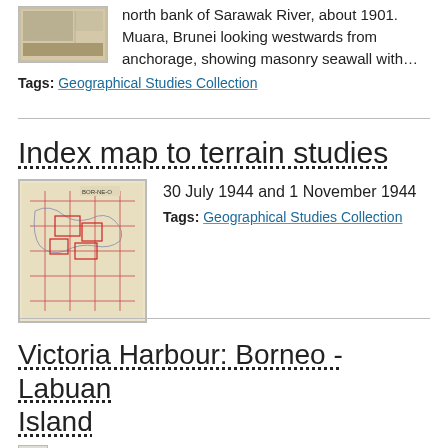[Figure (photo): Small thumbnail image of a historical photograph showing a riverbank scene]
north bank of Sarawak River, about 1901. Muara, Brunei looking westwards from anchorage, showing masonry seawall with…
Tags: Geographical Studies Collection
Index map to terrain studies
[Figure (map): Thumbnail of an index map showing terrain study areas with red grid lines on a beige background]
30 July 1944 and 1 November 1944
Tags: Geographical Studies Collection
Victoria Harbour: Borneo - Labuan Island
2 March 1944. Surveyed by Commander B.O.M. Davy, R.N.